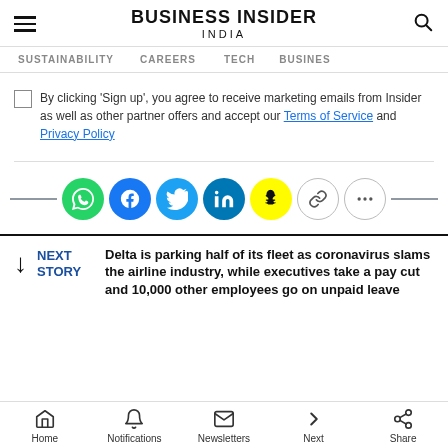BUSINESS INSIDER INDIA
SUSTAINABILITY   CAREERS   TECH   BUSINESS
By clicking 'Sign up', you agree to receive marketing emails from Insider as well as other partner offers and accept our Terms of Service and Privacy Policy
[Figure (infographic): Social share icons row: WhatsApp (green), Facebook (dark blue), Twitter (light blue), LinkedIn (blue), Snapchat (yellow), Link (outline), More (outline)]
NEXT STORY  Delta is parking half of its fleet as coronavirus slams the airline industry, while executives take a pay cut and 10,000 other employees go on unpaid leave
Home  Notifications  Newsletters  Next  Share